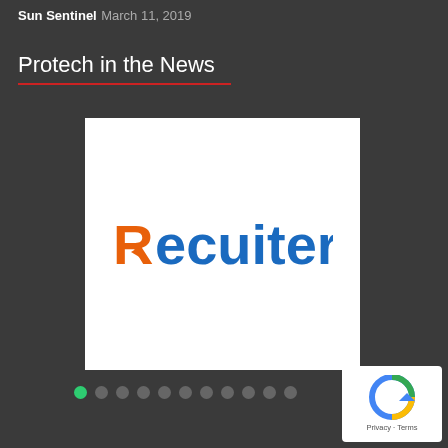Sun Sentinel March 11, 2019
Protech in the News
[Figure (logo): Recruiter.com logo — orange 'R' with arrow motif followed by blue 'ecruiter' text]
[Figure (other): reCAPTCHA badge with Privacy and Terms links]